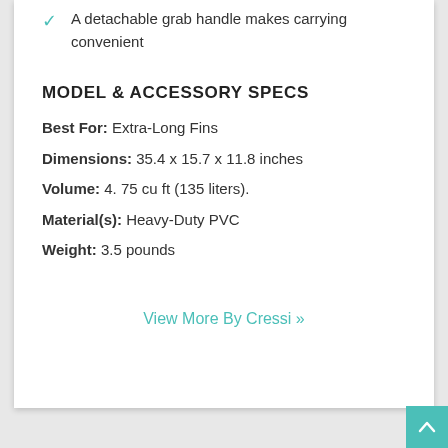A detachable grab handle makes carrying convenient
MODEL & ACCESSORY SPECS
Best For: Extra-Long Fins
Dimensions: 35.4 x 15.7 x 11.8 inches
Volume: 4. 75 cu ft (135 liters).
Material(s): Heavy-Duty PVC
Weight: 3.5 pounds
View More By Cressi »